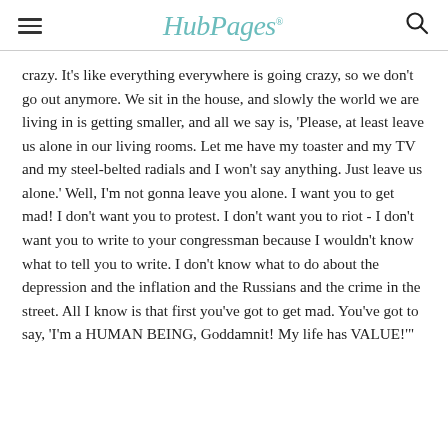HubPages
crazy. It's like everything everywhere is going crazy, so we don't go out anymore. We sit in the house, and slowly the world we are living in is getting smaller, and all we say is, 'Please, at least leave us alone in our living rooms. Let me have my toaster and my TV and my steel-belted radials and I won't say anything. Just leave us alone.' Well, I'm not gonna leave you alone. I want you to get mad! I don't want you to protest. I don't want you to riot - I don't want you to write to your congressman because I wouldn't know what to tell you to write. I don't know what to do about the depression and the inflation and the Russians and the crime in the street. All I know is that first you've got to get mad. You've got to say, 'I'm a HUMAN BEING, Goddamnit! My life has VALUE!'"